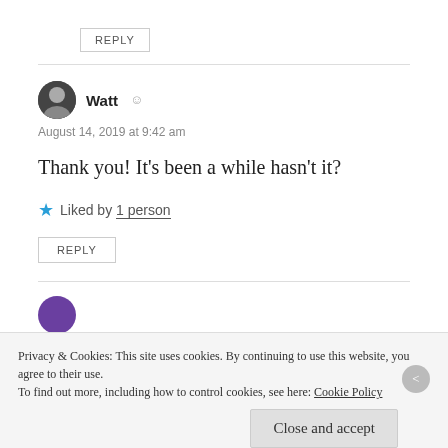REPLY
Watt
August 14, 2019 at 9:42 am
Thank you! It's been a while hasn't it?
Liked by 1 person
REPLY
Privacy & Cookies: This site uses cookies. By continuing to use this website, you agree to their use.
To find out more, including how to control cookies, see here: Cookie Policy
Close and accept